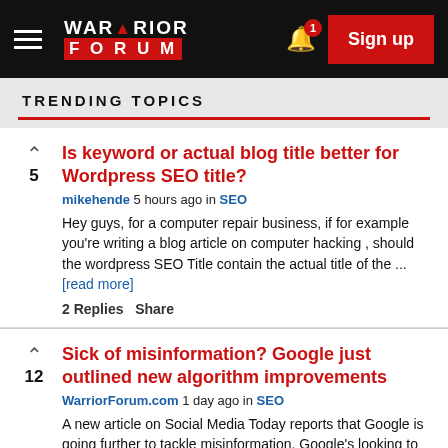Warrior Forum — Sign up
TRENDING TOPICS
Is keyword or actual blog title better for Wordpress SEO title?
mikehende 5 hours ago in SEO
Hey guys, for a computer repair business, if for example you're writing a blog article on computer hacking , should the wordpress SEO Title contain the actual title of the ... [read more]
2 Replies   Share
Sick of misinformation? Google just outlined new algorithm improvements
WarriorForum.com 1 day ago in SEO
A new article on Social Media Today reports that Google is going further to tackle misinformation. Google's looking to add more context to its Search